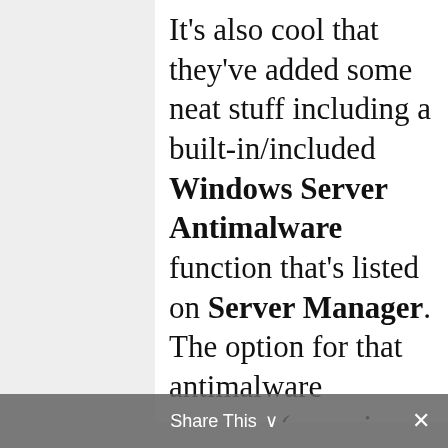It's also cool that they've added some neat stuff including a built-in/included Windows Server Antimalware function that's listed on Server Manager.  The option for that antimalware function (a version of Windows Defender for servers) is to enable (enabled by default) or disable real-time protection.  This is something you'd kind of sort of only  get with System Center Endpoint Protection previously.  So, that's interesting.  It uses the same cool looking icon set as Windows 10 Insider Preview.  I've
Share This ∨  ✕